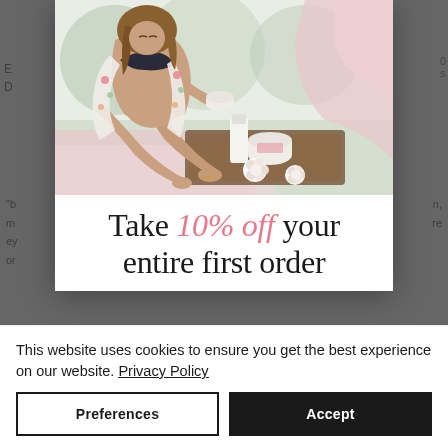[Figure (photo): A pregnant woman in a bikini top and floral kimono sits on a bed, holding a skincare jar, with beauty products on a tray beside her. Promotional image for a skincare brand offering 10% off first order.]
Take 10% off your entire first order
This website uses cookies to ensure you get the best experience on our website. Privacy Policy